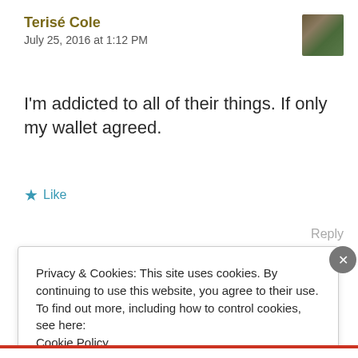Terisé Cole
July 25, 2016 at 1:12 PM
[Figure (photo): Small avatar/profile photo of a group of people]
I'm addicted to all of their things. If only my wallet agreed.
★ Like
Reply
Privacy & Cookies: This site uses cookies. By continuing to use this website, you agree to their use.
To find out more, including how to control cookies, see here: Cookie Policy
Close and accept